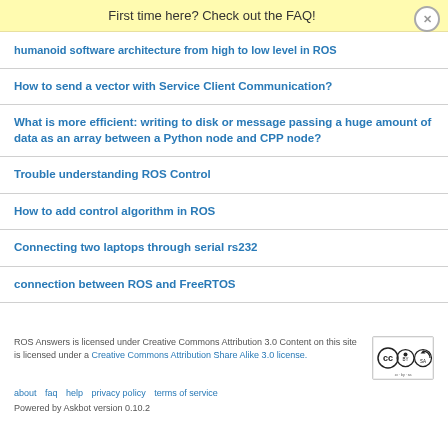First time here? Check out the FAQ!
humanoid software architecture from high to low level in ROS
How to send a vector with Service Client Communication?
What is more efficient: writing to disk or message passing a huge amount of data as an array between a Python node and CPP node?
Trouble understanding ROS Control
How to add control algorithm in ROS
Connecting two laptops through serial rs232
connection between ROS and FreeRTOS
ROS Answers is licensed under Creative Commons Attribution 3.0 Content on this site is licensed under a Creative Commons Attribution Share Alike 3.0 license.
about   faq   help   privacy policy   terms of service
Powered by Askbot version 0.10.2